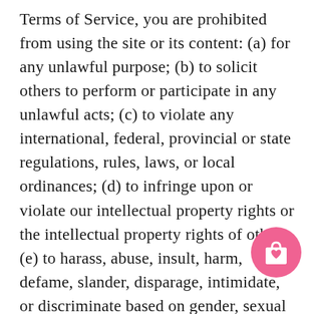Terms of Service, you are prohibited from using the site or its content: (a) for any unlawful purpose; (b) to solicit others to perform or participate in any unlawful acts; (c) to violate any international, federal, provincial or state regulations, rules, laws, or local ordinances; (d) to infringe upon or violate our intellectual property rights or the intellectual property rights of others; (e) to harass, abuse, insult, harm, defame, slander, disparage, intimidate, or discriminate based on gender, sexual orientation, religion, ethnicity, race, age, national origin, or disability; (f) to submit false or misleading information; (g) to upload or transmit viruses or any other type of malicious code that will or may be used in any way that will affect the functionality or
[Figure (illustration): Pink circular button icon with a shopping bag and heart symbol]